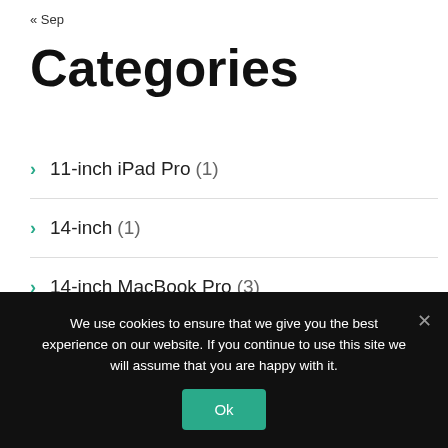« Sep
Categories
11-inch iPad Pro (1)
14-inch (1)
14-inch MacBook Pro (3)
16-inch MacBook Pro (5)
2022 iPad Pro (1)
We use cookies to ensure that we give you the best experience on our website. If you continue to use this site we will assume that you are happy with it.